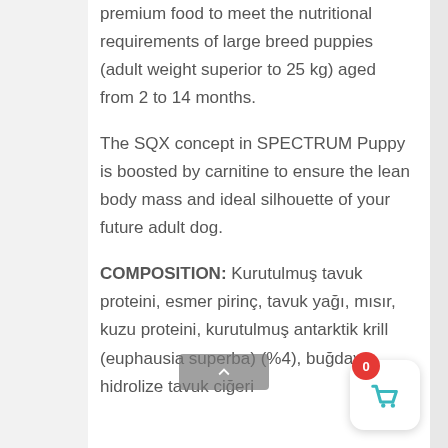premium food to meet the nutritional requirements of large breed puppies (adult weight superior to 25 kg) aged from 2 to 14 months.
The SQX concept in SPECTRUM Puppy is boosted by carnitine to ensure the lean body mass and ideal silhouette of your future adult dog.
COMPOSITION: Kurutulmuş tavuk proteini, esmer pirinç, tavuk yağı, mısır, kuzu proteini, kurutulmuş antarktik krill (euphausia superba) (%4), buğday, hidrolize tavuk ciğeri